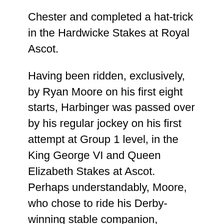Chester and completed a hat-trick in the Hardwicke Stakes at Royal Ascot.
Having been ridden, exclusively, by Ryan Moore on his first eight starts, Harbinger was passed over by his regular jockey on his first attempt at Group 1 level, in the King George VI and Queen Elizabeth Stakes at Ascot. Perhaps understandably, Moore, who chose to ride his Derby-winning stable companion, Workforce, instead, with French jockey Olivier Peslier picking up the spare ride on Harbinger.
Some ‘spare’ it proved, too. Sent off at 4/1 second favourite behind Workforce, Harbinger was held up fourth of the six runners in the early stages, but was travelling best of all turning for home and when he ranged alongside his toiling rivals at the two-furlong marker the race was all but over. In the closing stages,